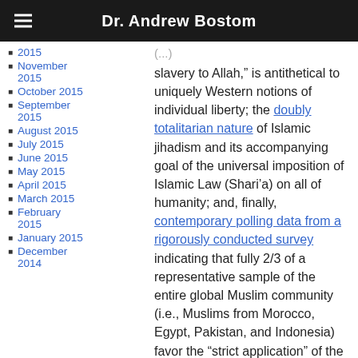Dr. Andrew Bostom
2015
November 2015
October 2015
September 2015
August 2015
July 2015
June 2015
May 2015
April 2015
March 2015
February 2015
January 2015
December 2014
slavery to Allah,” is antithetical to uniquely Western notions of individual liberty; the doubly totalitarian nature of Islamic jihadism and its accompanying goal of the universal imposition of Islamic Law (Shari’a) on all of humanity; and, finally, contemporary polling data from a rigorously conducted survey indicating that fully 2/3 of a representative sample of the entire global Muslim community (i.e., Muslims from Morocco, Egypt, Pakistan, and Indonesia) favor the “strict application” of the Shari’a, and the